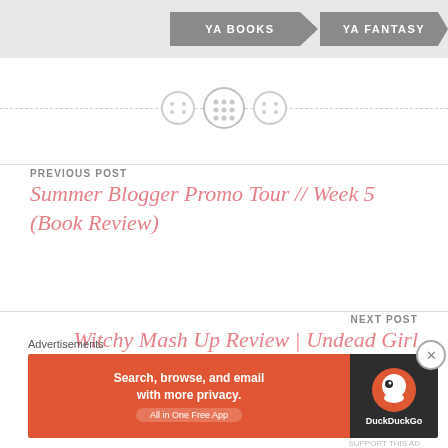[Figure (other): Navigation tag buttons: YA BOOKS and YA FANTASY arrow-shaped gray buttons]
[Figure (other): Decorative horizontal dashed divider with three circle button icons in the center]
PREVIOUS POST
Summer Blogger Promo Tour // Week 5 (Book Review)
NEXT POST
Witchy Mash Up Review | Undead Girl Gang, The Wicked Deep, & A Discovery of Witches
Advertisements
[Figure (other): DuckDuckGo advertisement banner: Search, browse, and email with more privacy. All in One Free App]